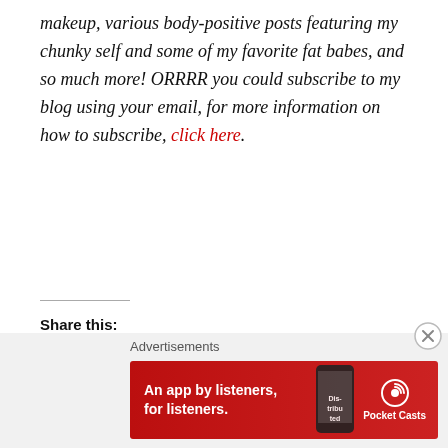makeup, various body-positive posts featuring my chunky self and some of my favorite fat babes, and so much more! ORRRR you could subscribe to my blog using your email, for more information on how to subscribe, click here.
Share this:
[Figure (other): Twitter and Facebook share buttons]
Loading...
Advertisements
[Figure (other): Pocket Casts advertisement banner — An app by listeners, for listeners.]